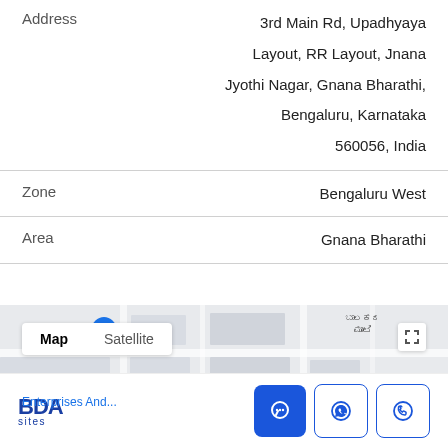Address: 3rd Main Rd, Upadhyaya Layout, RR Layout, Jnana Jyothi Nagar, Gnana Bharathi, Bengaluru, Karnataka 560056, India
Zone: Bengaluru West
Area: Gnana Bharathi
[Figure (map): Google Maps partial view showing street layout with Map/Satellite toggle controls, a location pin, Kannada script labels, expand icon, and 'Enterprises And...' label at bottom left]
BDA sites
[Figure (infographic): Footer action buttons: chat (blue filled), WhatsApp (outline), phone (outline)]